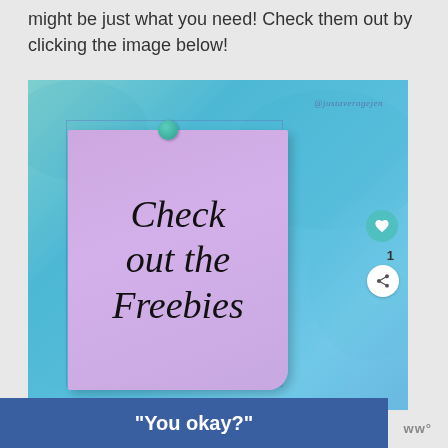might be just what you need! Check them out by clicking the image below!
[Figure (illustration): A promotional image showing a purple sticky note pinned with a teal thumbtack on a blue watercolor background. The sticky note reads 'Check out the Freebies' in script handwriting. Watermark '@justaveragejen' in top right corner. Social media like (heart) button showing count of 1 and share button on right side.]
"You okay?"
ww°